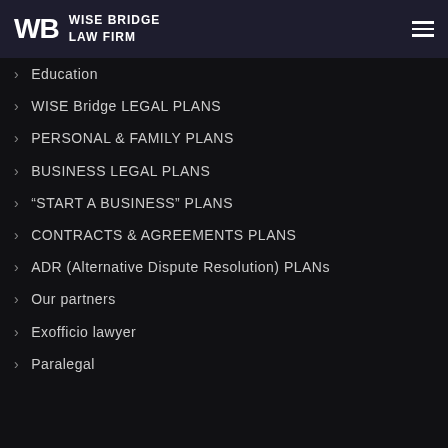WISE BRIDGE LAW FIRM
Education
WISE Bridge LEGAL PLANS
PERSONAL & FAMILY PLANS
BUSINESS LEGAL PLANS
“START A BUSINESS” PLANS
CONTRACTS & AGREEMENTS PLANS
ADR (Alternative Dispute Resolution) PLANs
Our partners
Exofficio lawyer
Paralegal